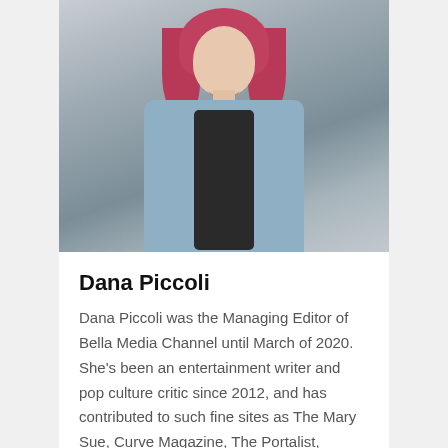[Figure (photo): Portrait photo of Dana Piccoli, a woman with pink/red hair, smiling, wearing a light blue denim jacket over a black shirt, photographed outdoors with a blurred background.]
Dana Piccoli
Dana Piccoli was the Managing Editor of Bella Media Channel until March of 2020. She's been an entertainment writer and pop culture critic since 2012, and has contributed to such fine sites as The Mary Sue, Curve Magazine, The Portalist, Decider and more. When she's not writing for the site, you can catch her on stage, moderating